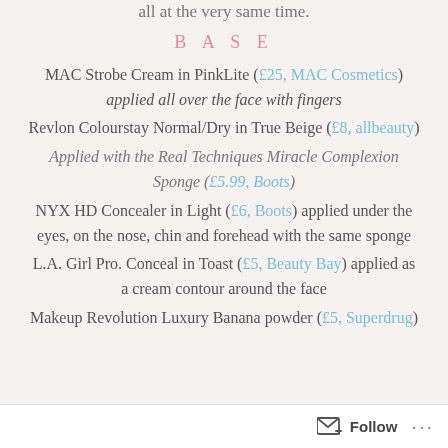all at the very same time.
B A S E
MAC Strobe Cream in PinkLite (£25, MAC Cosmetics) applied all over the face with fingers
Revlon Colourstay Normal/Dry in True Beige (£8, allbeauty)
Applied with the Real Techniques Miracle Complexion Sponge (£5.99, Boots)
NYX HD Concealer in Light (£6, Boots) applied under the eyes, on the nose, chin and forehead with the same sponge
L.A. Girl Pro. Conceal in Toast (£5, Beauty Bay) applied as a cream contour around the face
Makeup Revolution Luxury Banana powder (£5, Superdrug)
Follow